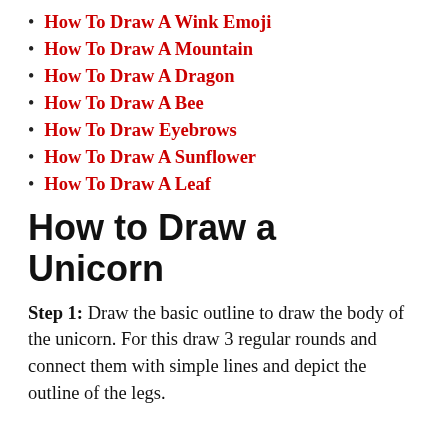How To Draw A Wink Emoji
How To Draw A Mountain
How To Draw A Dragon
How To Draw A Bee
How To Draw Eyebrows
How To Draw A Sunflower
How To Draw A Leaf
How to Draw a Unicorn
Step 1: Draw the basic outline to draw the body of the unicorn. For this draw 3 regular rounds and connect them with simple lines and depict the outline of the legs.